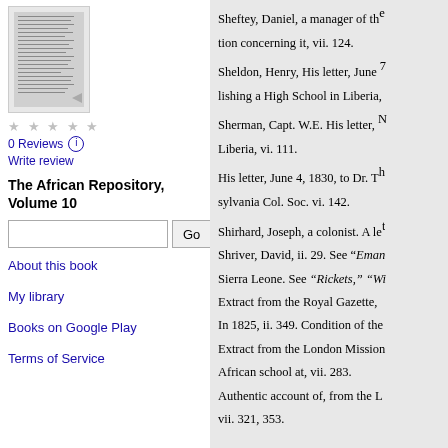[Figure (illustration): Thumbnail image of book cover for The African Repository, Volume 10]
0 Reviews
Write review
The African Repository, Volume 10
About this book
My library
Books on Google Play
Terms of Service
Sheftey, Daniel, a manager of th... tion concerning it, vii. 124.
Sheldon, Henry, His letter, June ... lishing a High School in Liberia,
Sherman, Capt. W.E. His letter, N... Liberia, vi. 111.
His letter, June 4, 1830, to Dr. Th... sylvania Col. Soc. vi. 142.
Shirhard, Joseph, a colonist. A le...
Shriver, David, ii. 29. See “Eman...
Sierra Leone. See “Rickets,” “Wi...
Extract from the Royal Gazette, ...
In 1825, ii. 349. Condition of the...
Extract from the London Mission...
African school at, vii. 283.
Authentic account of, from the L... vii. 321, 353.
Sketch of its history, ix. 208.
Sigourney, Mrs. Lydia H. See “P...
a donation from her former pupi... at Monrovia,” iii. 189.